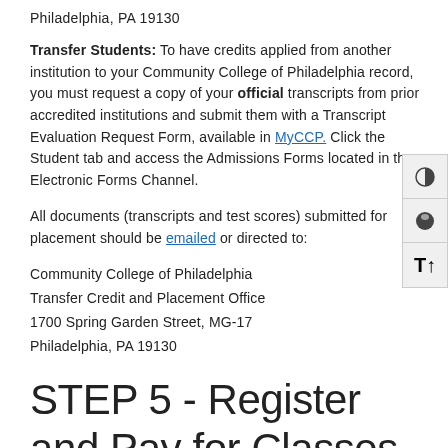Philadelphia, PA 19130
Transfer Students: To have credits applied from another institution to your Community College of Philadelphia record, you must request a copy of your official transcripts from prior accredited institutions and submit them with a Transcript Evaluation Request Form, available in MyCCP. Click the Student tab and access the Admissions Forms located in the Electronic Forms Channel.
All documents (transcripts and test scores) submitted for placement should be emailed or directed to:
Community College of Philadelphia
Transfer Credit and Placement Office
1700 Spring Garden Street, MG-17
Philadelphia, PA 19130
STEP 5 - Register and Pay for Classes